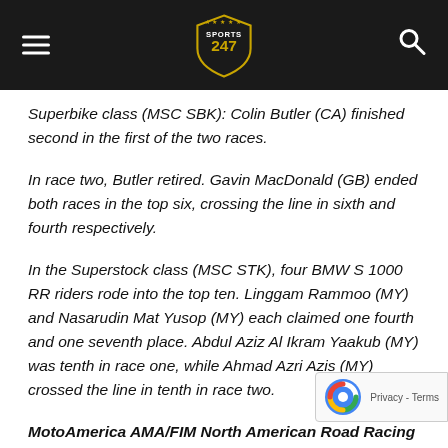Sports 247 logo with hamburger menu and search icon
Superbike class (MSC SBK): Colin Butler (CA) finished second in the first of the two races.
In race two, Butler retired. Gavin MacDonald (GB) ended both races in the top six, crossing the line in sixth and fourth respectively.
In the Superstock class (MSC STK), four BMW S 1000 RR riders rode into the top ten. Linggam Rammoo (MY) and Nasarudin Mat Yusop (MY) each claimed one fourth and one seventh place. Abdul Aziz Al Ikram Yaakub (MY) was tenth in race one, while Ahmad Azri Azis (MY) crossed the line in tenth in race two.
MotoAmerica AMA/FIM North American Road Racing Series...